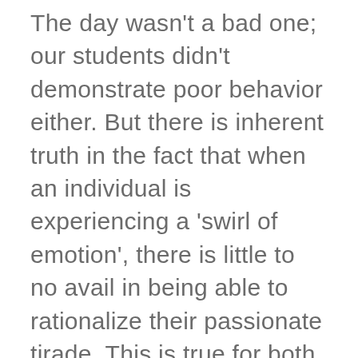The day wasn't a bad one; our students didn't demonstrate poor behavior either. But there is inherent truth in the fact that when an individual is experiencing a 'swirl of emotion', there is little to no avail in being able to rationalize their passionate tirade. This is true for both children and adults. Just to portray the intensity of our students' enthusiasm and excitement for the day, it felt like maybe how Marie Antoinette and Louis XVI may have felt when the French Revolution began to overtake...